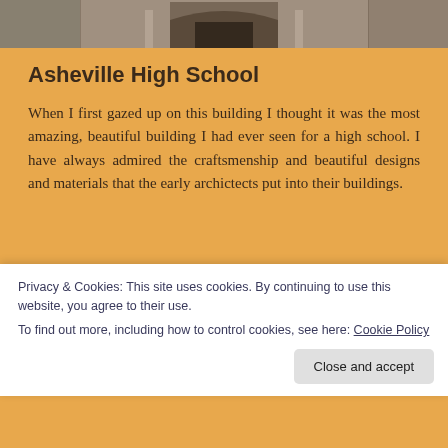[Figure (photo): Partial view of Asheville High School building exterior, showing architectural details at top of page]
Asheville High School
When I first gazed up on this building I thought it was the most amazing, beautiful building I had ever seen for a high school. I have always admired the craftsmenship and beautiful designs and materials that the early archictects put into their buildings.
After the railroad reached Asheville in 1881, the
Privacy & Cookies: This site uses cookies. By continuing to use this website, you agree to their use.
To find out more, including how to control cookies, see here: Cookie Policy
Close and accept